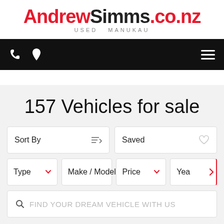[Figure (logo): AndrewSimms.co.nz USED MANUKAU logo — Andrew in red, Simms in black bold, .co.nz in red, USED MANUKAU in grey letterspaced text below]
[Figure (screenshot): Black navigation bar with white phone icon, map pin icon on left, and hamburger menu icon on right]
157 Vehicles for sale
Sort By
Saved
Type
Make / Model
Price
Yea
FIND YOUR DREAM VEHICLE WITH US